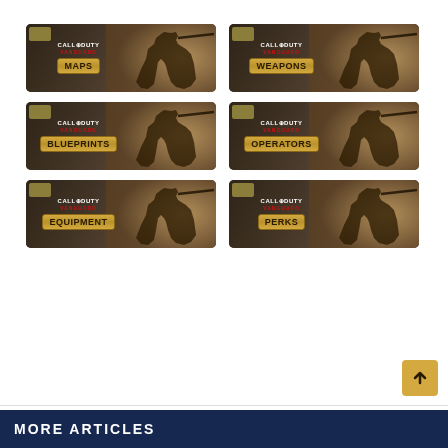[Figure (infographic): Call of Duty Vanguard category card: MAPS - banner with soldier figure]
[Figure (infographic): Call of Duty Vanguard category card: WEAPONS - banner with soldier figure]
[Figure (infographic): Call of Duty Vanguard category card: BLUEPRINTS - banner with soldier figure]
[Figure (infographic): Call of Duty Vanguard category card: OPERATORS - banner with soldier figure]
[Figure (infographic): Call of Duty Vanguard category card: EQUIPMENT - banner with soldier figure]
[Figure (infographic): Call of Duty Vanguard category card: PERKS - banner with soldier figure]
MORE ARTICLES